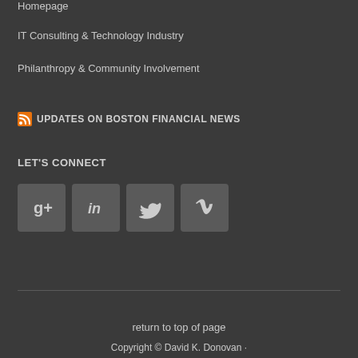Homepage
IT Consulting & Technology Industry
Philanthropy & Community Involvement
UPDATES ON BOSTON FINANCIAL NEWS
LET'S CONNECT
[Figure (infographic): Four social media icon buttons: Google+, LinkedIn, Twitter, Vimeo]
return to top of page
Copyright © David K. Donovan ·